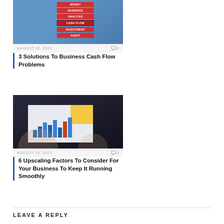[Figure (photo): A hand holding stacked red blocks labeled MONEY, BUSINESS, ANALYSIS, CASH FLOW, INVESTMENT, ASSET]
AUGUST 22, 2022   0
3 Solutions To Business Cash Flow Problems
[Figure (photo): Two people pointing at a bar chart on paper with a yellow sticky note on a dark table]
AUGUST 14, 2022   0
6 Upscaling Factors To Consider For Your Business To Keep It Running Smoothly
LEAVE A REPLY